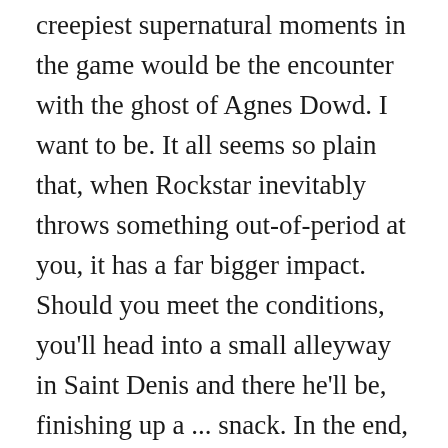creepiest supernatural moments in the game would be the encounter with the ghost of Agnes Dowd. I want to be. It all seems so plain that, when Rockstar inevitably throws something out-of-period at you, it has a far bigger impact. Should you meet the conditions, you'll head into a small alleyway in Saint Denis and there he'll be, finishing up a ... snack. In the end, the man will creepily admit that "Okay, I'm not the devil. Unfortunately for Arthur, he can potentially find some things that are a lot more creepy. There are actually more animals that make up this mutant creature if you're willing to take a closer look. Jump on your horse and head west-northwest of Strawberry, toward the edge of the map. At this point, you've